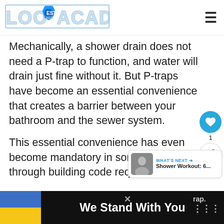Loo Academy
Mechanically, a shower drain does not need a P-trap to function, and water will drain just fine without it. But P-traps have become an essential convenience that creates a barrier between your bathroom and the sewer system.
This essential convenience has even become mandatory in some areas through building code require...rap.